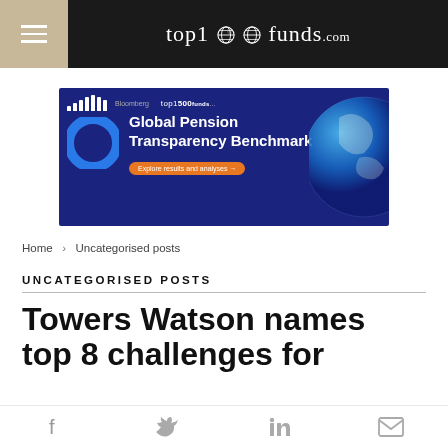top1000funds.com
[Figure (infographic): Advertisement banner for Global Pension Transparency Benchmark with blue background, circular logo, bar chart icon, earth graphic, and orange CTA button 'Explore results and analyses']
Home > Uncategorised posts
UNCATEGORISED POSTS
Towers Watson names top 8 challenges for
Social share icons: Facebook, Twitter, LinkedIn, Email